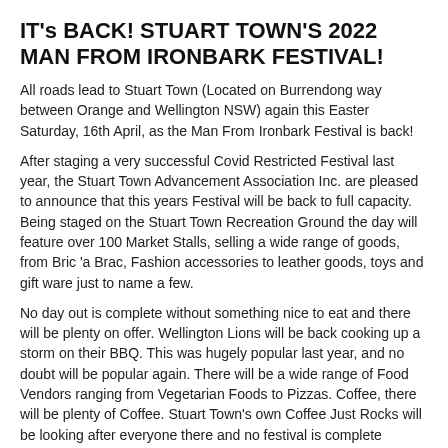IT's BACK! STUART TOWN'S 2022 MAN FROM IRONBARK FESTIVAL!
All roads lead to Stuart Town (Located on Burrendong way between Orange and Wellington NSW) again this Easter Saturday, 16th April, as the Man From Ironbark Festival is back!
After staging a very successful Covid Restricted Festival last year, the Stuart Town Advancement Association Inc. are pleased to announce that this years Festival will be back to full capacity. Being staged on the Stuart Town Recreation Ground the day will feature over 100 Market Stalls, selling a wide range of goods, from Bric 'a Brac, Fashion accessories to leather goods, toys and gift ware just to name a few.
No day out is complete without something nice to eat and there will be plenty on offer. Wellington Lions will be back cooking up a storm on their BBQ. This was hugely popular last year, and no doubt will be popular again. There will be a wide range of Food Vendors ranging from Vegetarian Foods to Pizzas. Coffee, there will be plenty of Coffee. Stuart Town's own Coffee Just Rocks will be looking after everyone there and no festival is complete without a Mr Whippy van!